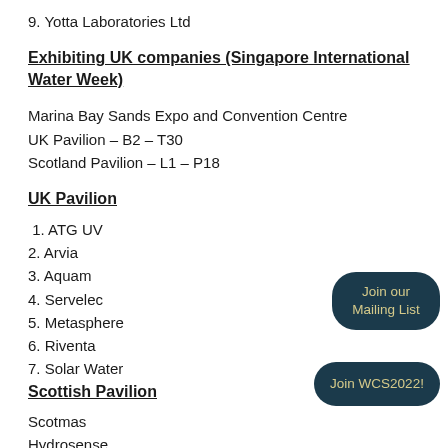9. Yotta Laboratories Ltd
Exhibiting UK companies (Singapore International Water Week)
Marina Bay Sands Expo and Convention Centre
UK Pavilion – B2 – T30
Scotland Pavilion – L1 – P18
UK Pavilion
1. ATG UV
2. Arvia
3. Aquam
4. Servelec
5. Metasphere
6. Riventa
7. Solar Water
Scottish Pavilion
Scotmas
Hydrosense
Freudenberg Filter